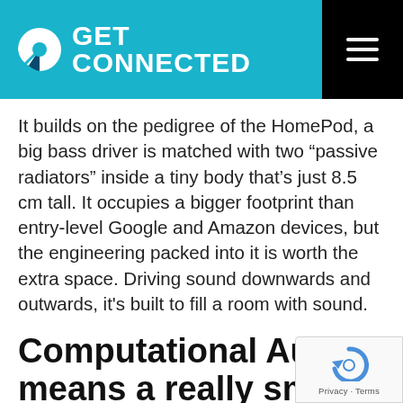GET CONNECTED
It builds on the pedigree of the HomePod, a big bass driver is matched with two “passive radiators” inside a tiny body that’s just 8.5 cm tall. It occupies a bigger footprint than entry-level Google and Amazon devices, but the engineering packed into it is worth the extra space. Driving sound downwards and outwards, it's built to fill a room with sound.
Computational Audio means a really smart speaker